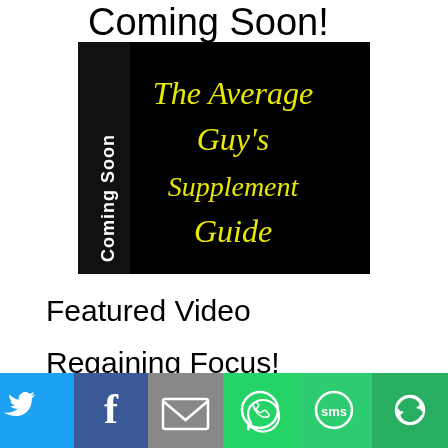Coming Soon!
[Figure (illustration): Black background book cover with 'Coming Soon' rotated vertically on left spine in white bold text, and 'The Average Guy's Supplement Guide' in yellow cursive/handwriting font on the right]
Featured Video
Regaining Focus!
[Figure (infographic): Social sharing bar with six colored buttons: Twitter (blue bird icon), Facebook (blue f icon), Email (gray envelope icon), WhatsApp (green phone icon), SMS (green SMS icon), More (green circular arrows icon)]